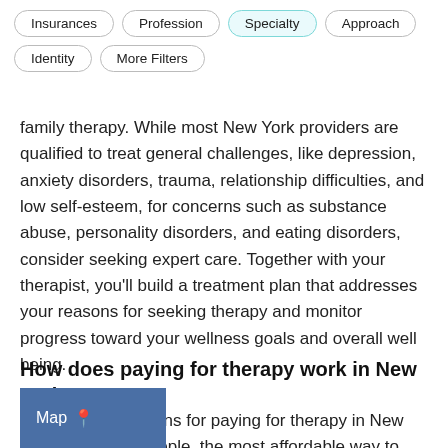[Figure (screenshot): Navigation filter buttons: Insurances, Profession, Specialty (active/highlighted in teal), Approach, Identity, More Filters]
family therapy. While most New York providers are qualified to treat general challenges, like depression, anxiety disorders, trauma, relationship difficulties, and low self-esteem, for concerns such as substance abuse, personality disorders, and eating disorders, consider seeking expert care. Together with your therapist, you'll build a treatment plan that addresses your reasons for seeking therapy and monitor progress toward your wellness goals and overall well being.
How does paying for therapy work in New York?
[Figure (screenshot): Map button overlay in blue/slate color with map pin icon]
several options for paying for therapy in New York. For many people, the most affordable way to seek